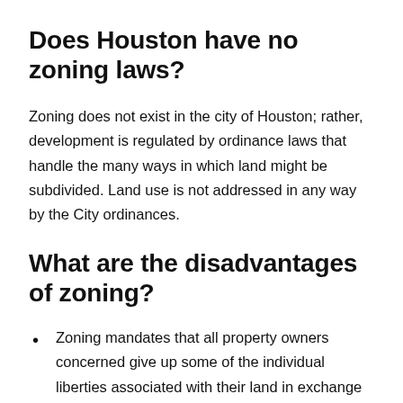Does Houston have no zoning laws?
Zoning does not exist in the city of Houston; rather, development is regulated by ordinance laws that handle the many ways in which land might be subdivided. Land use is not addressed in any way by the City ordinances.
What are the disadvantages of zoning?
Zoning mandates that all property owners concerned give up some of the individual liberties associated with their land in exchange for the greater welfare of